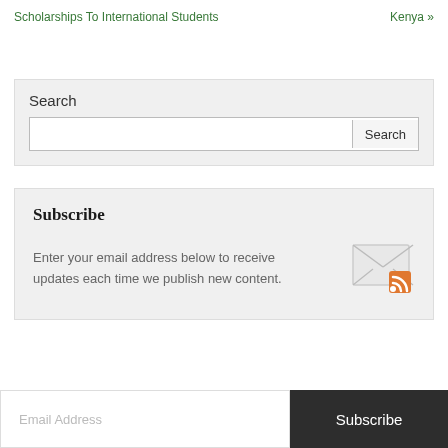Scholarships To International Students
Kenya »
Search
Subscribe
Enter your email address below to receive updates each time we publish new content.
Email Address
Subscribe